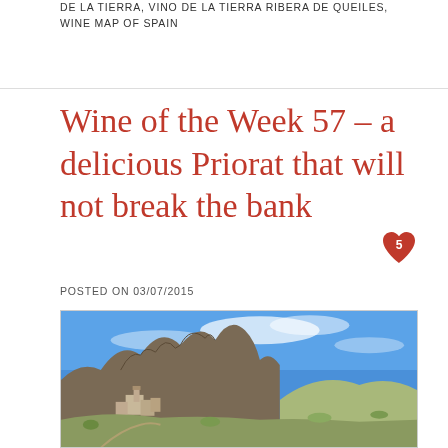DE LA TIERRA, VINO DE LA TIERRA RIBERA DE QUEILES, WINE MAP OF SPAIN
Wine of the Week 57 – a delicious Priorat that will not break the bank
POSTED ON 03/07/2015
[Figure (photo): Landscape photograph of a rocky hillside village in Priorat, Spain, with dramatic rock formations, stone buildings, blue sky with light clouds, and rolling terrain in the background.]